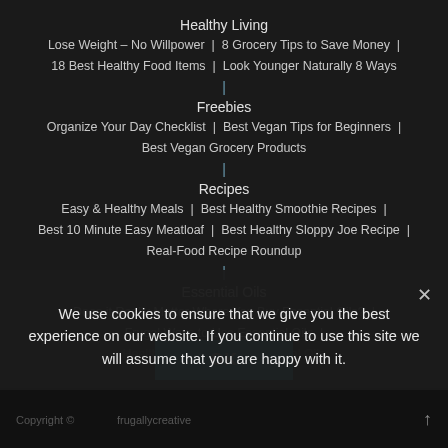Healthy Living
Lose Weight – No Willpower | 8 Grocery Tips to Save Money |
18 Best Healthy Food Items | Look Younger Naturally 8 Ways
Freebies
Organize Your Day Checklist | Best Vegan Tips for Beginners |
Best Vegan Grocery Products
Recipes
Easy & Healthy Meals | Best Healthy Smoothie Recipes |
Best 10 Minute Easy Meatloaf | Best Healthy Sloppy Joe Recipe |
Real-Food Recipe Roundup
Essential Oils
Does it Really Matter Where You Buy Essential Oils? |
Frugal Ways to Use Essential Oils |
Healthy Emotions with Essential Oils
We use cookies to ensure that we give you the best experience on our website. If you continue to use this site we will assume that you are happy with it.
OK
Copyright © ... frugallycreative